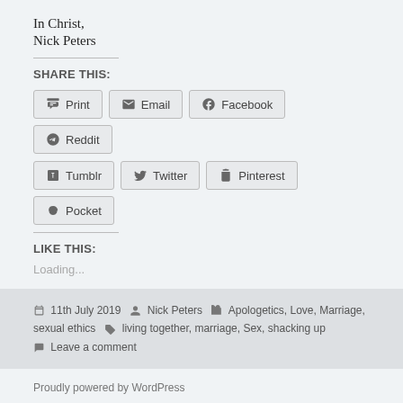In Christ,
Nick Peters
SHARE THIS:
Print  Email  Facebook  Reddit  Tumblr  Twitter  Pinterest  Pocket
LIKE THIS:
Loading...
11th July 2019  Nick Peters  Apologetics, Love, Marriage, sexual ethics  living together, marriage, Sex, shacking up  Leave a comment
Proudly powered by WordPress